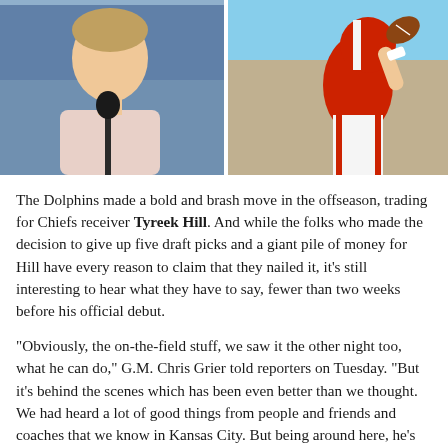[Figure (photo): Split image: left side shows a man (TV host/analyst) seated with a microphone in a studio setting; right side shows Tyreek Hill in Kansas City Chiefs red uniform throwing/catching a football.]
The Dolphins made a bold and brash move in the offseason, trading for Chiefs receiver Tyreek Hill. And while the folks who made the decision to give up five draft picks and a giant pile of money for Hill have every reason to claim that they nailed it, it’s still interesting to hear what they have to say, fewer than two weeks before his official debut.
“Obviously, the on-the-field stuff, we saw it the other night too, what he can do,” G.M. Chris Grier told reporters on Tuesday. “But it’s behind the scenes which has been even better than we thought. We had heard a lot of good things from people and friends and coaches that we know in Kansas City. But being around here, he’s got an infectious attitude, he’s a competitor, great teammate with the guys. You guys see him out there, and you see him, he’s 100